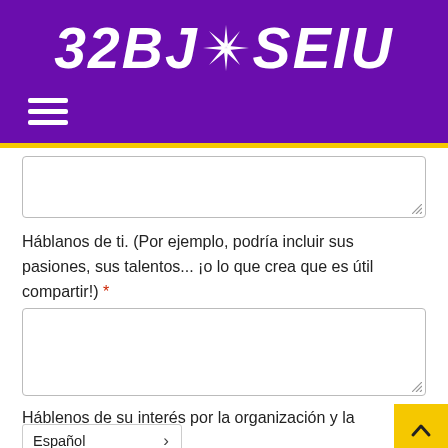[Figure (logo): 32BJ SEIU union logo in white italic bold text on purple background with stylized starburst/spark graphic between 32BJ and SEIU]
[Figure (other): Hamburger menu icon (three horizontal white lines) on purple background]
Háblanos de ti. (Por ejemplo, podría incluir sus pasiones, sus talentos... ¡o lo que crea que es útil compartir!) *
[Figure (other): Empty textarea input box with resize handle]
Háblenos de su interés por la organización y la justicia social *